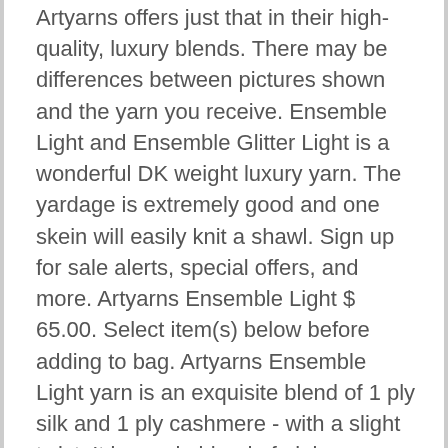Artyarns offers just that in their high-quality, luxury blends. There may be differences between pictures shown and the yarn you receive. Ensemble Light and Ensemble Glitter Light is a wonderful DK weight luxury yarn. The yardage is extremely good and one skein will easily knit a shawl. Sign up for sale alerts, special offers, and more. Artyarns Ensemble Light $ 65.00. Select item(s) below before adding to bag. Artyarns Ensemble Light yarn is an exquisite blend of 1 ply silk and 1 ply cashmere - with a slight twist. It is a pale blend of pink, cream and silver grey - very delicate . Ensemble Light from Artyarns. $ 88.20 - 93.60 $ 98.00 - 104.00 ( 10% ) Artyarns Colours. These generous 400 yard skeins are 50% silk and 50% cashmere. Ensemble Light from Artyarns. Local customers may select the Store Pickup option when shopping online. The silk and cashmere fibers take the dye differently to create a two toned yarn. A